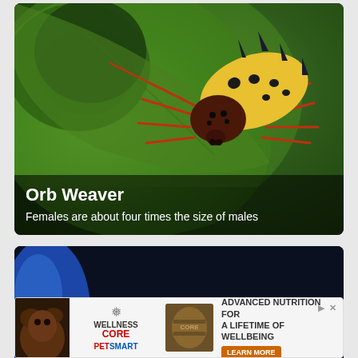[Figure (photo): Close-up photo of an Orb Weaver spider on a green leaf. The spider has a yellow and black spiky abdomen with dark spots, red-orange legs, and a dark brown cephalothorax. The background is a green leaf.]
Orb Weaver
Females are about four times the size of males
[Figure (photo): Partial photo of what appears to be a colorful fish with orange-red and dark coloring, with a blue element in the background, on a dark background.]
[Figure (other): Advertisement banner for Wellness Core pet food from PetSmart. Shows an animal photo on left, Wellness Core and PetSmart logos, a product image, and text reading 'ADVANCED NUTRITION FOR A LIFETIME OF WELLBEING' with a Learn More button.]